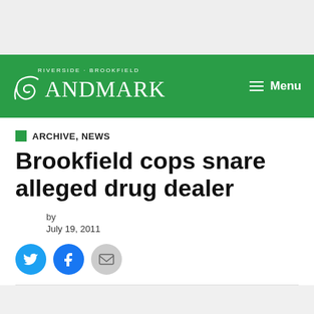Riverside-Brookfield Landmark — Menu
ARCHIVE, NEWS
Brookfield cops snare alleged drug dealer
by
July 19, 2011